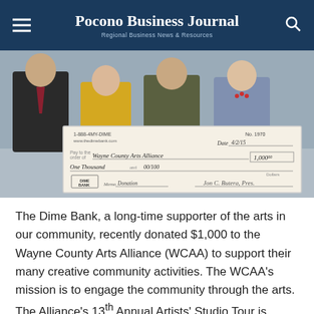Pocono Business Journal — Regional Business News & Resources
[Figure (photo): Group of four people holding a large oversized check from The Dime Bank made out to Wayne County Arts Alliance for $1,000, dated 4/2/15, memo: Donation]
The Dime Bank, a long-time supporter of the arts in our community, recently donated $1,000 to the Wayne County Arts Alliance (WCAA) to support their many creative community activities. The WCAA's mission is to engage the community through the arts. The Alliance's 13th Annual Artists' Studio Tour is coming July 10th, 11th and 12th from 10am –